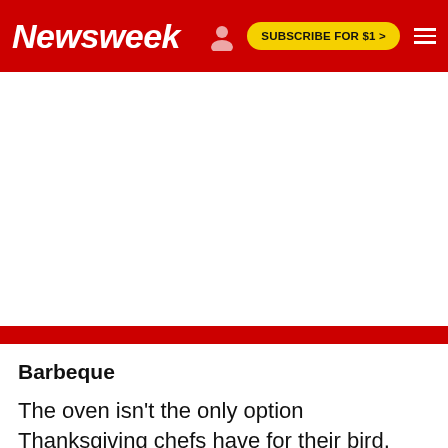Newsweek | SUBSCRIBE FOR $1 >
[Figure (other): Blank white advertisement/placeholder area below the Newsweek navigation header, followed by a red bar at the bottom of the ad region.]
Barbeque
The oven isn't the only option Thanksgiving chefs have for their bird, though. If you live in a